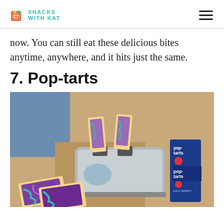SNACKS WITH KAT
now. You can still eat these delicious bites anytime, anywhere, and it hits just the same.
7. Pop-tarts
[Figure (photo): A chrome toaster with two Pop-Tarts (Wild Berry flavor with colorful frosting) popping out of the slots, next to a box of Pop-Tarts Wild Berry on a tan/cardboard surface with a blue wall in the background. In the foreground are two Pop-Tarts with swirled purple/teal frosting.]